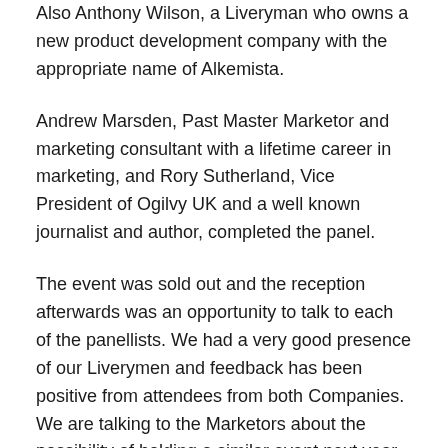Also Anthony Wilson, a Liveryman who owns a new product development company with the appropriate name of Alkemista.
Andrew Marsden, Past Master Marketor and marketing consultant with a lifetime career in marketing, and Rory Sutherland, Vice President of Ogilvy UK and a well known journalist and author, completed the panel.
The event was sold out and the reception afterwards was an opportunity to talk to each of the panellists. We had a very good presence of our Liverymen and feedback has been positive from attendees from both Companies. We are talking to the Marketors about the possibility of holding a similar event next year.